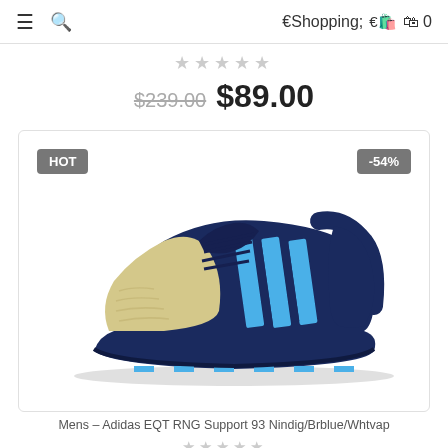≡  🔍   🛍 0
★★★★★
$239.00  $89.00
[Figure (photo): Adidas EQT RNG Support 93 sneaker in navy blue and gold colorway with bright blue three stripes, shown from lateral side. HOT badge top-left, -54% badge top-right.]
Mens – Adidas EQT RNG Support 93 Nindig/Brblue/Whtvap
★★★★★